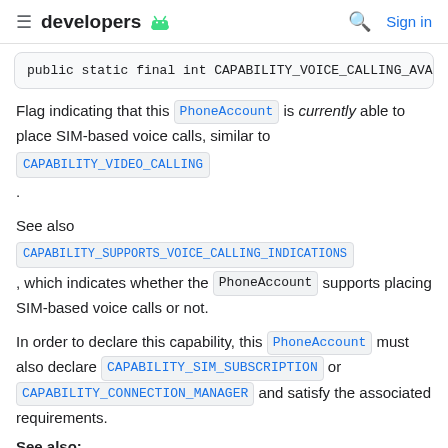developers [android logo] | search | Sign in
public static final int CAPABILITY_VOICE_CALLING_AVA
Flag indicating that this PhoneAccount is currently able to place SIM-based voice calls, similar to CAPABILITY_VIDEO_CALLING.
See also
CAPABILITY_SUPPORTS_VOICE_CALLING_INDICATIONS , which indicates whether the PhoneAccount supports placing SIM-based voice calls or not.
In order to declare this capability, this PhoneAccount must also declare CAPABILITY_SIM_SUBSCRIPTION or CAPABILITY_CONNECTION_MANAGER and satisfy the associated requirements.
See also: